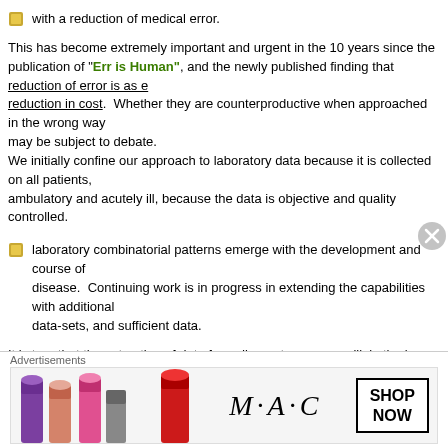with a reduction of medical error.
This has become extremely important and urgent in the 10 years since the publication of "To Err is Human", and the newly published finding that reduction of error is as effective as reduction in cost. Whether they are counterproductive when approached in the wrong way may be subject to debate.
We initially confine our approach to laboratory data because it is collected on all patients, ambulatory and acutely ill, because the data is objective and quality controlled.
laboratory combinatorial patterns emerge with the development and course of disease. Continuing work is in progress in extending the capabilities with additional data-sets, and sufficient data.
It is true that the extraction of data from disparate sources will, in the long run, facilitate this process. For instance, the finding of both ST depression on EKG coincident with an increase of a cardiac biomarker (troponin) above a level determined by a receiver operating curve (ROC) analysis, particularly in the absence of substantially reduced renal function.
The conversion of hematology based data into useful clinical information requires the establishment of problem-solving constructs based on the measured data. Traditionally, this has been accomplished by an intuitive interpretation of the data by the individual.
[Figure (other): Advertisement banner for MAC cosmetics showing lipsticks and 'SHOP NOW' button]